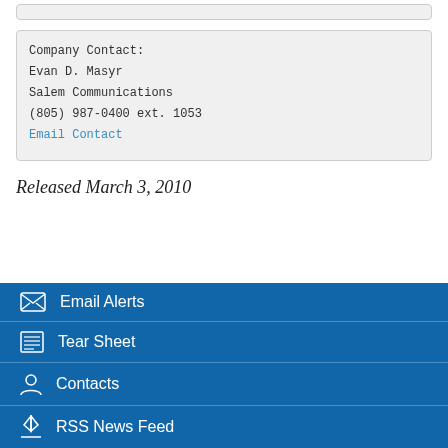Company Contact:
Evan D. Masyr
Salem Communications
(805) 987-0400 ext. 1053
Email Contact
Released March 3, 2010
Email Alerts
Tear Sheet
Contacts
RSS News Feed